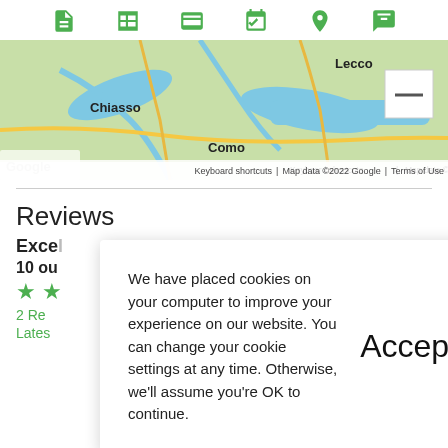[Figure (screenshot): Toolbar with 6 green icons: document, table, payment, calendar/check, map pin, chat bubble]
[Figure (map): Google Maps showing region around Como and Lecco in northern Italy, with Chiasso visible. Shows terrain with rivers and roads. Footer text: Keyboard shortcuts | Map data ©2022 Google | Terms of Use]
Reviews
Excel
10 ou
[Figure (other): Two green star icons]
2 Re
Lates
We have placed cookies on your computer to improve your experience on our website. You can change your cookie settings at any time. Otherwise, we'll assume you're OK to continue.
Accept